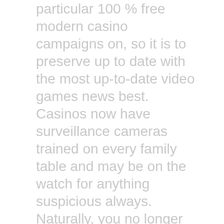particular 100 % free modern casino campaigns on, so it is to preserve up to date with the most up-to-date video games news best. Casinos now have surveillance cameras trained on every family table and may be on the watch for anything suspicious always. Naturally, you no longer want to go away and look for a casino if you feel like playing. Some snacks are now worthy of up to $50,000 if the person wants to participate in most video games; the Palazzo reception is an best selection.
Online gambling den scammers such seeing that id thievery and thieving of financial files are generally unfortunately commonplace when penalties with less than reputable web-view sites. Web page design, content material, activities and all different digital camera subject material different than the Mg Modern casino Content may be. We recommend